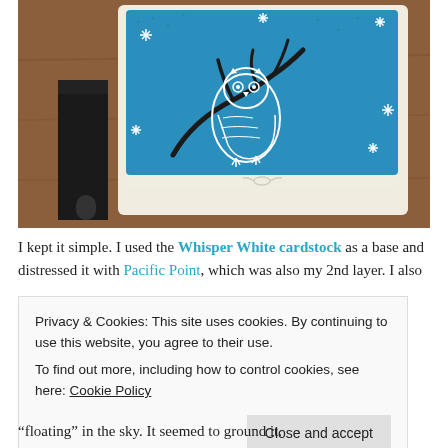[Figure (photo): A handmade greeting card displayed on a wooden surface with a black letter holder. The card features a blue background with a white owl sitting on a branch, surrounded by white snowflake stars. A white ribbon is tied at the bottom of the card.]
I kept it simple. I used the Whisper White cardstock as a base and distressed it with Pacific Point, which was also my 2nd layer. I also
Privacy & Cookies: This site uses cookies. By continuing to use this website, you agree to their use.
To find out more, including how to control cookies, see here: Cookie Policy
Close and accept
“floating” in the sky. It seemed to ground it.